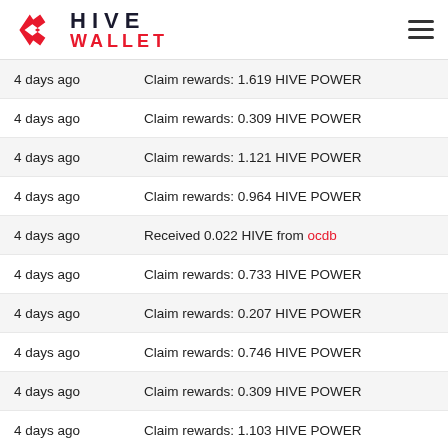HIVE WALLET
4 days ago — Claim rewards: 1.619 HIVE POWER
4 days ago — Claim rewards: 0.309 HIVE POWER
4 days ago — Claim rewards: 1.121 HIVE POWER
4 days ago — Claim rewards: 0.964 HIVE POWER
4 days ago — Received 0.022 HIVE from ocdb
4 days ago — Claim rewards: 0.733 HIVE POWER
4 days ago — Claim rewards: 0.207 HIVE POWER
4 days ago — Claim rewards: 0.746 HIVE POWER
4 days ago — Claim rewards: 0.309 HIVE POWER
4 days ago — Claim rewards: 1.103 HIVE POWER